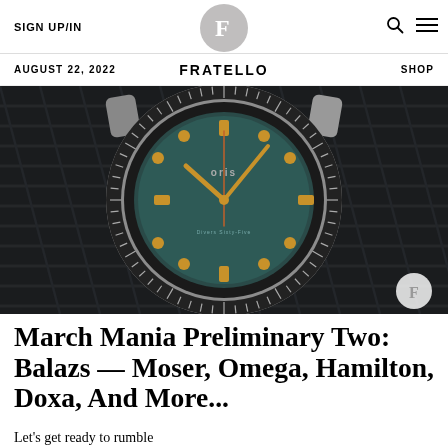SIGN UP/IN | FRATELLO | SHOP
AUGUST 22, 2022 | FRATELLO | SHOP
[Figure (photo): Close-up photo of an Oris dive watch with a teal/green dial and gold-tone indices, sitting on dark denim fabric. The watch has a black rotating bezel and rose gold-tone hands.]
March Mania Preliminary Two: Balazs — Moser, Omega, Hamilton, Doxa, And More...
Let's get ready to rumble